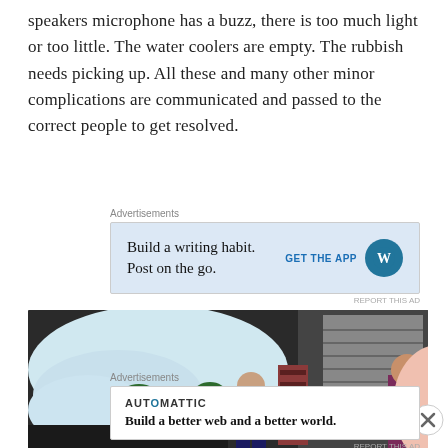speakers microphone has a buzz, there is too much light or too little. The water coolers are empty. The rubbish needs picking up. All these and many other minor complications are communicated and passed to the correct people to get resolved.
Advertisements
[Figure (screenshot): Advertisement banner with light blue background: 'Build a writing habit. Post on the go.' with GET THE APP button and WordPress logo]
[Figure (photo): Photo of an event venue setup with inflatable white structure, palm trees, workers in orange hi-vis vests, stacked chairs]
Advertisements
[Figure (screenshot): Automattic advertisement: 'Build a better web and a better world.']